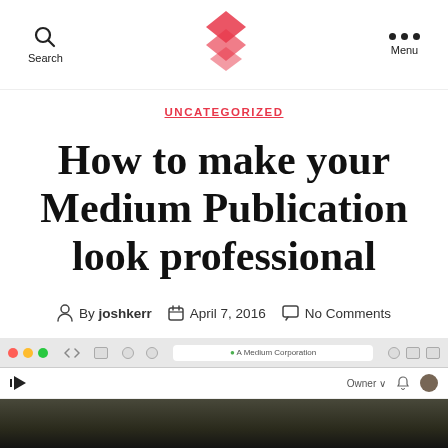Search | [Logo] | Menu
UNCATEGORIZED
How to make your Medium Publication look professional
By joshkerr   April 7, 2016   No Comments
[Figure (screenshot): Bottom portion showing a macOS browser chrome with toolbar (red/yellow/green dots), address bar showing A Medium Corporation, Medium navigation bar with M logo, Owner dropdown, bell icon, and user avatar. Below is a dark textured wood background image.]